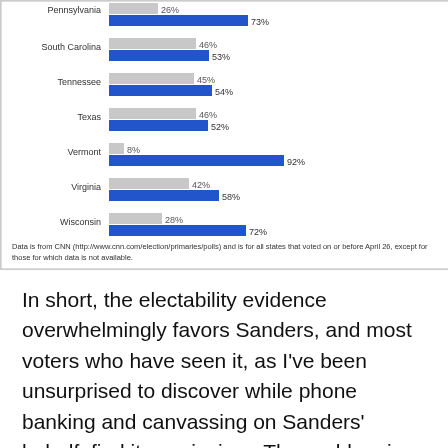[Figure (grouped-bar-chart): State primary results – Clinton vs Sanders]
Data is from CNN (http://www.cnn.com/election/primaries/polls) and is for all states that voted on or before April 26, except for those for which data is not available.
In short, the electability evidence overwhelmingly favors Sanders, and most voters who have seen it, as I've been unsurprised to discover while phone banking and canvassing on Sanders' behalf, find it convincing.  The problem is that most people haven't seen it and/or have been told, erroneously, that it doesn't matter; that's the